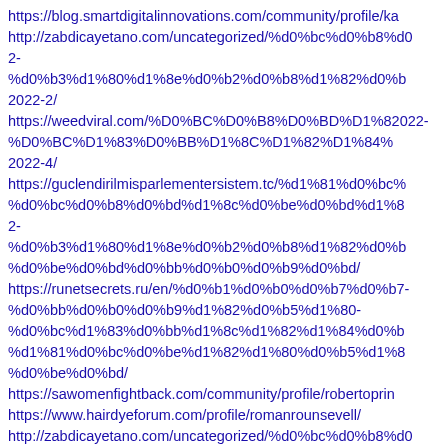https://blog.smartdigitalinnovations.com/community/profile/ka
http://zabdicayetano.com/uncategorized/%d0%bc%d0%b8%d0%2-%d0%b3%d1%80%d1%8e%d0%b2%d0%b8%d1%82%d0%b2022-2/
https://weedviral.com/%D0%BC%D0%B8%D0%BD%D1%802022-%D0%BC%D1%83%D0%BB%D1%8C%D1%82%D1%84%2022-4/
https://guclendirilmisparlementersistem.tc/%d1%81%d0%bc%%d0%bc%d0%b8%d0%bd%d1%8c%d0%be%d0%bd%d1%82-2-%d0%b3%d1%80%d1%8e%d0%b2%d0%b8%d1%82%d0%b%d0%be%d0%bd%d0%bb%d0%b0%d0%b9%d0%bd/
https://runetsecrets.ru/en/%d0%b1%d0%b0%d0%b7%d0%b7-%d0%bb%d0%b0%d0%b9%d1%82%d0%b5%d1%80-%d0%bc%d1%83%d0%bb%d1%8c%d1%82%d1%84%d0%b%d1%81%d0%bc%d0%be%d1%82%d1%80%d0%b5%d1%8%d0%be%d0%bd/
https://sawomenfightback.com/community/profile/robertoprin
https://www.hairdyeforum.com/profile/romanrounsevell/
http://zabdicayetano.com/uncategorized/%d0%bc%d0%b8%d02022-%d0%bc%d1%83%d0%bb%d1%8c%d1%82%d1%84%d0%b%d1%81%d0%bc%d0%be%d1%82%d1%80%d0%b5%d1%8